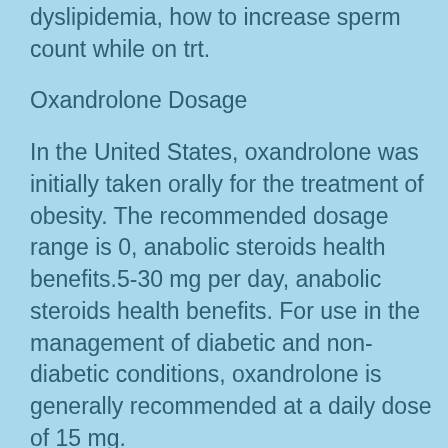dyslipidemia, how to increase sperm count while on trt.
Oxandrolone Dosage
In the United States, oxandrolone was initially taken orally for the treatment of obesity. The recommended dosage range is 0, anabolic steroids health benefits.5-30 mg per day, anabolic steroids health benefits. For use in the management of diabetic and non-diabetic conditions, oxandrolone is generally recommended at a daily dose of 15 mg.
The recommended dosage in a therapeutic dosage unit (TUD) of 0, anabolic steroids for gout.5 mg / day is based on a patient's weight, anabolic steroids for gout. The dosage is rounded to the nearest ten percent (10%) of the patient's weight or 150 lb.